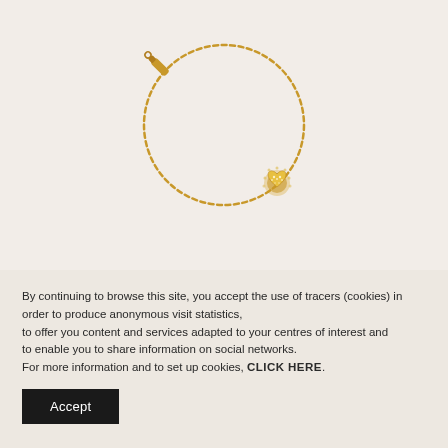[Figure (photo): Gold chain bracelet with a small heart-shaped diamond pendant, displayed in a circular loop on a light beige background.]
By continuing to browse this site, you accept the use of tracers (cookies) in order to produce anonymous visit statistics, to offer you content and services adapted to your centres of interest and to enable you to share information on social networks. For more information and to set up cookies, CLICK HERE.
Accept